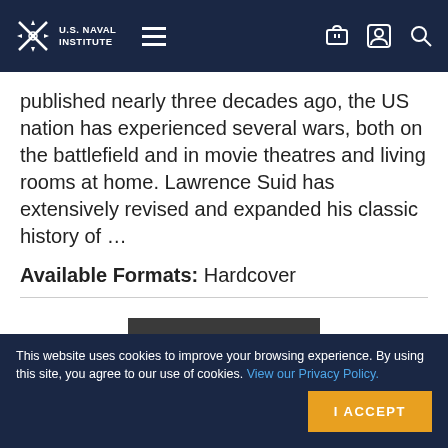U.S. Naval Institute
published nearly three decades ago, the US nation has experienced several wars, both on the battlefield and in movie theatres and living rooms at home. Lawrence Suid has extensively revised and expanded his classic history of …
Available Formats: Hardcover
[Figure (photo): Black and white photograph of a submarine moving through the ocean with waves around it, a red element visible at the bottom.]
This website uses cookies to improve your browsing experience. By using this site, you agree to our use of cookies. View our Privacy Policy.